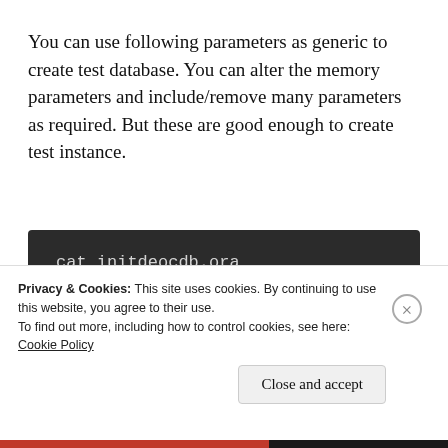You can use following parameters as generic to create test database. You can alter the memory parameters and include/remove many parameters as required. But these are good enough to create test instance.
[Figure (screenshot): Dark-themed code block showing terminal command: cat initdeocdb.ora, with partial second line starting with db_]
Privacy & Cookies: This site uses cookies. By continuing to use this website, you agree to their use.
To find out more, including how to control cookies, see here:
Cookie Policy
Close and accept